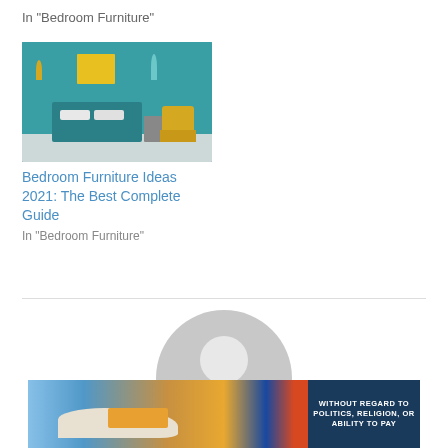In "Bedroom Furniture"
[Figure (photo): Bedroom interior with teal walls, yellow artwork, blue bed, yellow armchair, and pendant lamps]
Bedroom Furniture Ideas 2021: The Best Complete Guide
In "Bedroom Furniture"
[Figure (illustration): Generic user avatar / profile placeholder icon in grey]
[Figure (photo): Advertisement banner showing a cargo airplane being loaded, with text 'WITHOUT REGARD TO POLITICS, RELIGION, OR ABILITY TO PAY']